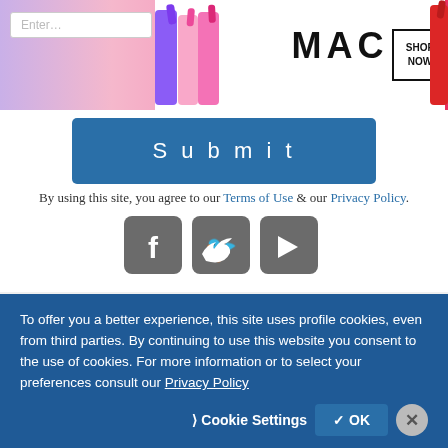[Figure (illustration): MAC cosmetics advertisement banner showing lipsticks in purple, pink, and red colors with MAC logo and SHOP NOW button]
[Figure (illustration): Submit button - large blue rectangular button with white text 'Submit']
By using this site, you agree to our Terms of Use & our Privacy Policy.
[Figure (other): Social media icons for Facebook, Twitter, and YouTube in gray rounded square style]
Explore Commercial Truck Trader
To offer you a better experience, this site uses profile cookies, even from third parties. By continuing to use this website you consent to the use of cookies. For more information or to select your preferences consult our Privacy Policy
Cookie Settings   OK